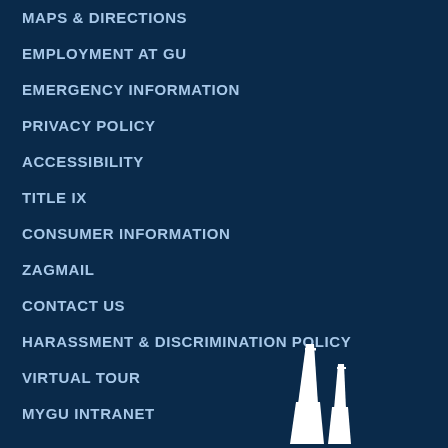MAPS & DIRECTIONS
EMPLOYMENT AT GU
EMERGENCY INFORMATION
PRIVACY POLICY
ACCESSIBILITY
TITLE IX
CONSUMER INFORMATION
ZAGMAIL
CONTACT US
HARASSMENT & DISCRIMINATION POLICY
VIRTUAL TOUR
MYGU INTRANET
[Figure (illustration): White silhouette of two church/chapel spires against a dark navy background, visible at the bottom right of the page.]